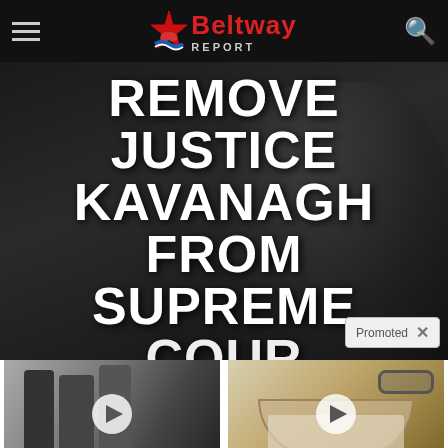Beltway Report
REMOVE JUSTICE KAVANAGH FROM SUPREME COURT
Promoted
[Figure (photo): Video thumbnail showing men in suits, one waving, with a circular play button overlay]
[Figure (photo): Video thumbnail showing a bowl of powdery substance with glasses, with a circular play button overlay]
Nancy Pelosi Wants This Video Destroyed — Watch Now Before It's Banned
824,565
Medical Discovery Changes Everything We Know About Vision Loss — Restore Eyesight Naturally